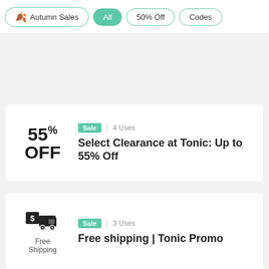Autumn Sales
All
50% Off
Codes
Sale | 4 Uses
Select Clearance at Tonic: Up to 55% Off
Sale | 3 Uses
Free shipping | Tonic Promo